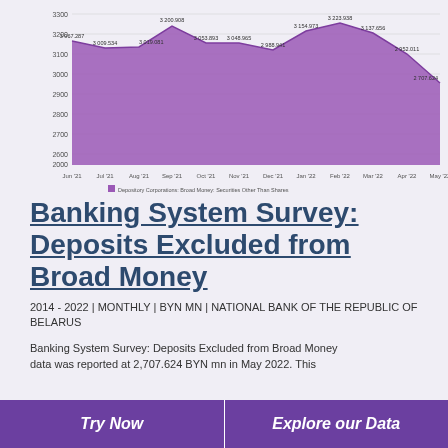[Figure (area-chart): Depository Corporations: Broad Money: Securities Other Than Shares]
Banking System Survey: Deposits Excluded from Broad Money
2014 - 2022 | MONTHLY | BYN MN | NATIONAL BANK OF THE REPUBLIC OF BELARUS
Banking System Survey: Deposits Excluded from Broad Money data was reported at 2,707.624 BYN mn in May 2022. This